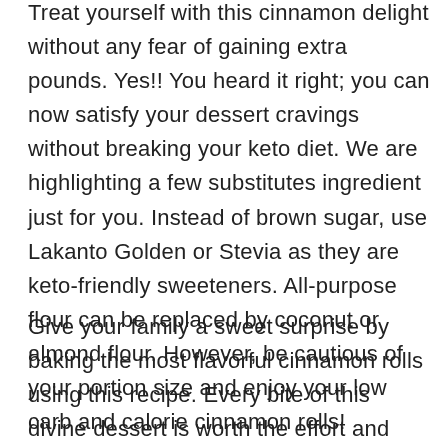Treat yourself with this cinnamon delight without any fear of gaining extra pounds. Yes!! You heard it right; you can now satisfy your dessert cravings without breaking your keto diet. We are highlighting a few substitutes ingredient just for you. Instead of brown sugar, use Lakanto Golden or Stevia as they are keto-friendly sweeteners. All-purpose flour can be replaced by coconut or almond flour. However, be cautious of your portion size and enjoy your low carb and calorie cinnamon rolls!
Give your family a sweet surprise by baking the most flavorful cinnamon rolls using this recipe. Every bite of this divine dessert is worth the effort and times that goes into preparing it. There is nothing more heavenly than the feeling of moist cinnamon roll melting inside your mouth. We recommend you enjoy it while it's still warm to let the flavors sink into your taste buds.